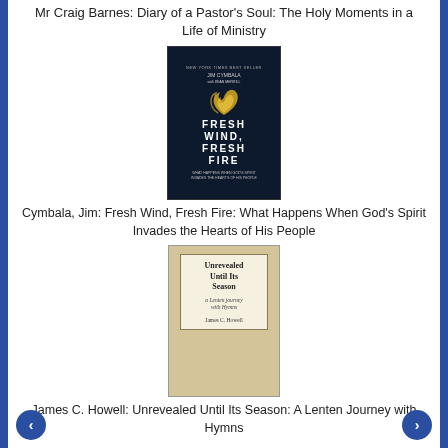Mr Craig Barnes: Diary of a Pastor's Soul: The Holy Moments in a Life of Ministry
[Figure (photo): Book cover of Fresh Wind, Fresh Fire by Jim Cymbala with Dean Merrill. Dark navy background with gold flame graphic and white lettering.]
Cymbala, Jim: Fresh Wind, Fresh Fire: What Happens When God's Spirit Invades the Hearts of His People
[Figure (photo): Book cover of Unrevealed Until Its Season: A Lenten Journey with Hymns by James C. Howell. Tan/cream background with decorative border and handwritten script subtitle.]
James C. Howell: Unrevealed Until Its Season: A Lenten Journey with Hymns